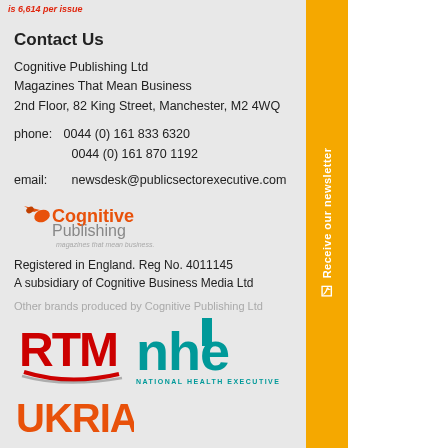Contact Us
Cognitive Publishing Ltd
Magazines That Mean Business
2nd Floor, 82 King Street, Manchester, M2 4WQ
phone:   0044 (0) 161 833 6320
         0044 (0) 161 870 1192
email:   newsdesk@publicsectorexecutive.com
[Figure (logo): Cognitive Publishing - magazines that mean business logo]
Registered in England. Reg No. 4011145
A subsidiary of Cognitive Business Media Ltd
Other brands produced by Cognitive Publishing Ltd
[Figure (logo): RTM logo]
[Figure (logo): NHE - National Health Executive logo]
[Figure (logo): UKRIA logo]